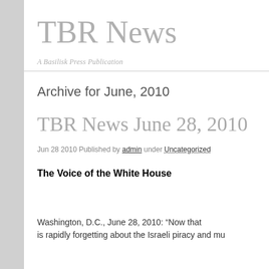TBR News
A Basilisk Press Publication
Archive for June, 2010
TBR News June 28, 2010
Jun 28 2010 Published by admin under Uncategorized
The Voice of the White House
Washington, D.C., June 28, 2010: “Now that is rapidly forgetting about the Israeli piracy and mu…